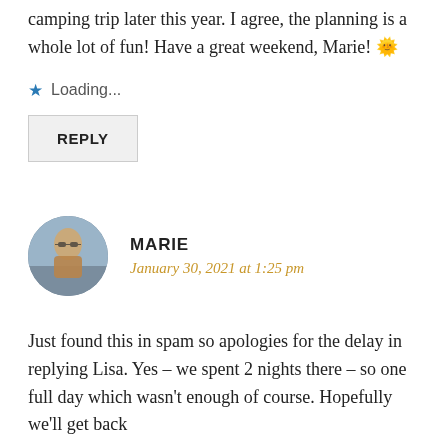camping trip later this year. I agree, the planning is a whole lot of fun! Have a great weekend, Marie! 🌞
★ Loading...
REPLY
MARIE
January 30, 2021 at 1:25 pm
Just found this in spam so apologies for the delay in replying Lisa. Yes – we spent 2 nights there – so one full day which wasn't enough of course. Hopefully we'll get back